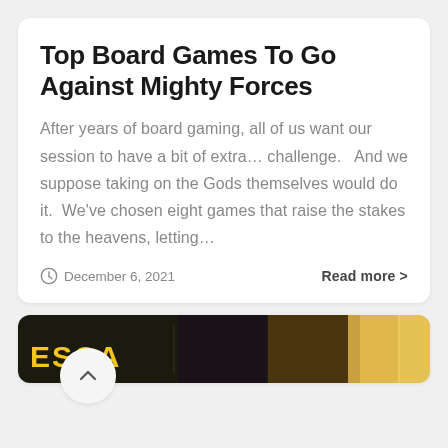Top Board Games To Go Against Mighty Forces
After years of board gaming, all of us want our session to have a bit of extra… challenge.   And we suppose taking on the Gods themselves would do it.  We've chosen eight games that raise the stakes to the heavens, letting…
December 6, 2021    Read more >
[Figure (photo): Partial view of a second article card showing board game box art with the word ESCA visible, colorful illustrated covers]
^